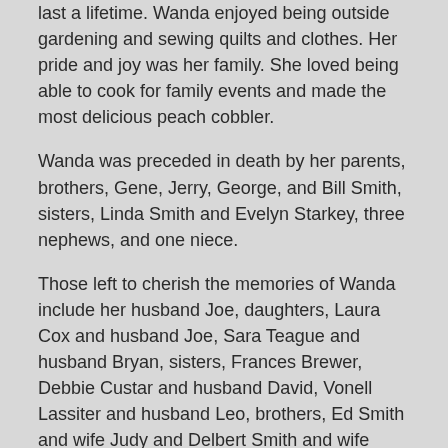last a lifetime. Wanda enjoyed being outside gardening and sewing quilts and clothes. Her pride and joy was her family. She loved being able to cook for family events and made the most delicious peach cobbler.
Wanda was preceded in death by her parents, brothers, Gene, Jerry, George, and Bill Smith, sisters, Linda Smith and Evelyn Starkey, three nephews, and one niece.
Those left to cherish the memories of Wanda include her husband Joe, daughters, Laura Cox and husband Joe, Sara Teague and husband Bryan, sisters, Frances Brewer, Debbie Custar and husband David, Vonell Lassiter and husband Leo, brothers, Ed Smith and wife Judy and Delbert Smith and wife Vicki, grandchildren, Monty Teague and wife Mariah Sanders, Courtney Teague and fiancé Brandon Harjo, and Aaron Cox, great-grandchildren, Torry Teague, Kason Ellis, Korbyn and Karter Teague, Kamden and Kyler Harjo, along with a host of nieces and nephews.
A funeral service for Wanda will be held 11:00 A.M. Saturday, March 2, 2019 at the New Life Assembly of God Church in Henryetta with Diane Twist officiating. Interment will follow at the Checotah Cemetery. Casketbearers will be A.D. Custar, Aaron...